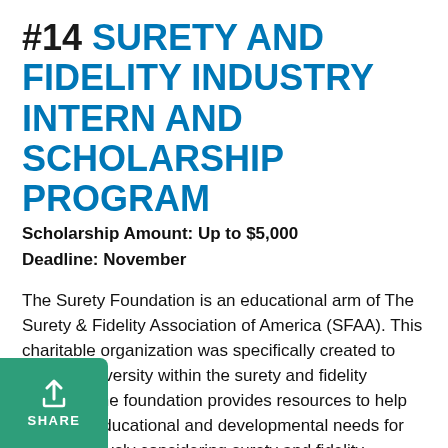#14 SURETY AND FIDELITY INDUSTRY INTERN AND SCHOLARSHIP PROGRAM
Scholarship Amount: Up to $5,000
Deadline: November
The Surety Foundation is an educational arm of The Surety & Fidelity Association of America (SFAA). This charitable organization was specifically created to increase diversity within the surety and fidelity industry. The foundation provides resources to help meet the educational and developmental needs for those seriously considering surety and fidelity bonding as professional career. The organization hopes to eliminate the barriers that keep students in the minority from entering the field. In 2003 the foundation